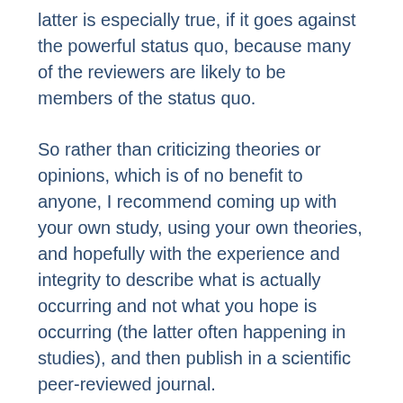latter is especially true, if it goes against the powerful status quo, because many of the reviewers are likely to be members of the status quo.
So rather than criticizing theories or opinions, which is of no benefit to anyone, I recommend coming up with your own study, using your own theories, and hopefully with the experience and integrity to describe what is actually occurring and not what you hope is occurring (the latter often happening in studies), and then publish in a scientific peer-reviewed journal.
What I realize with the challenging